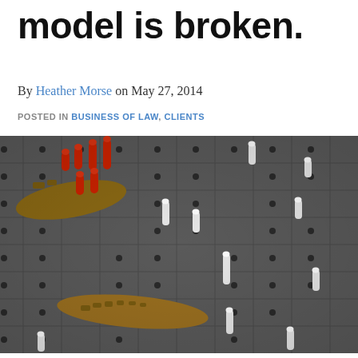model is broken.
By Heather Morse on May 27, 2014
POSTED IN BUSINESS OF LAW, CLIENTS
[Figure (photo): A close-up photograph of a Battleship board game showing red and white pegs inserted into a dark gray grid board, with plastic ship models visible.]